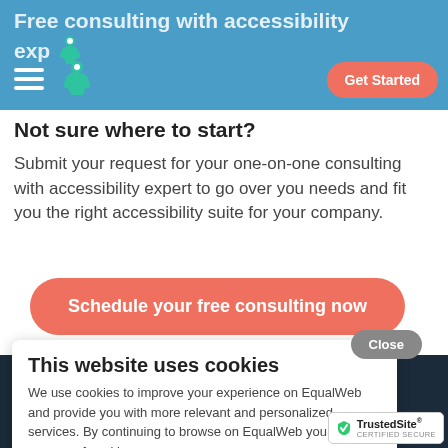Free consulting with accessibility experts — Get Started
Not sure where to start?
Submit your request for your one-on-one consulting with accessibility expert to go over you needs and fit you the right accessibility suite for your company.
Schedule your free consulting now
This website uses cookies
We use cookies to improve your experience on EqualWeb and provide you with more relevant and personalized services. By continuing to browse on EqualWeb you agree to our use of cookies.
Learn More
Close
Become EqualWeb's Affiliate
By directing traffic to EqualWeb with our Affiliate program — the world's largest marketplace for disability solution. Get paid to drive traffic, it's that easy!
[Figure (logo): TrustedSite Certified Secure badge]